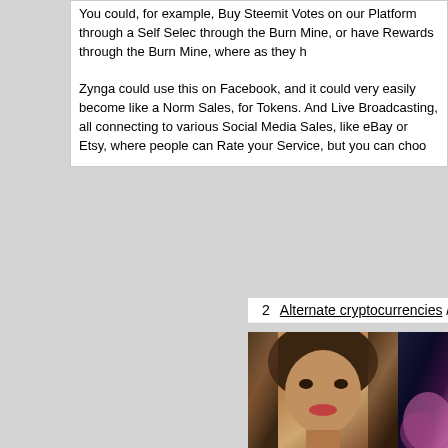You could, for example, Buy Steemit Votes on our Platform through a Self Select, through the Burn Mine, or have Rewards through the Burn Mine, where as they h

Zynga could use this on Facebook, and it could very easily become like a Norm Sales, for Tokens. And Live Broadcasting, all connecting to various Social Media Sales, like eBay or Etsy, where people can Rate your Service, but you can choo
2    Alternate cryptocurrencies / Announcements (Altcoins) / Ka
[Figure (photo): Portrait photo of a woman with long dark hair, smiling, wearing red lipstick. She has a necklace. The photo is cropped showing face and upper body.]
[Figure (photo): Partial photo with blue/purple tones, appears to show hair with pink highlights against a dark blue background.]